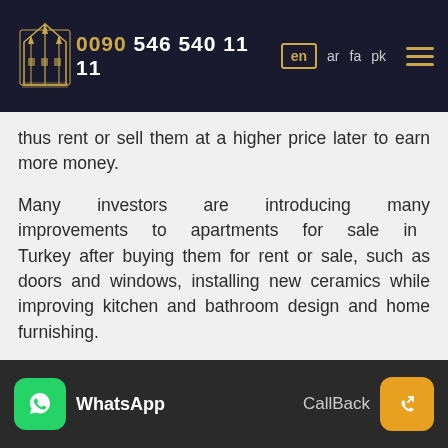0090 546 540 11 11  en  ar  fa  pk
thus rent or sell them at a higher price later to earn more money.
Many investors are introducing many improvements to apartments for sale in Turkey after buying them for rent or sale, such as doors and windows, installing new ceramics while improving kitchen and bathroom design and home furnishing.
Rent Turkish properties and re-rent them
WhatsApp  CallBack